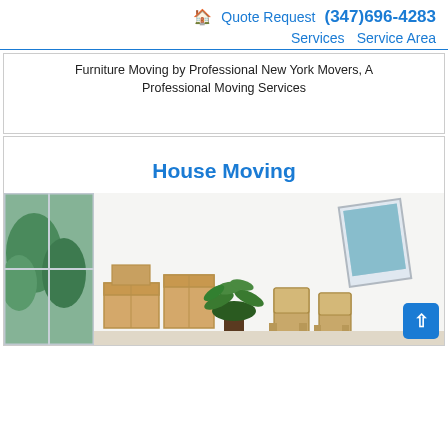🏠 Quote Request (347)696-4283 Services Service Area
Furniture Moving by Professional New York Movers, A Professional Moving Services
House Moving
[Figure (photo): Moving scene with cardboard boxes, a plant, chairs, and a painting leaning against a white wall near a window with trees visible outside.]